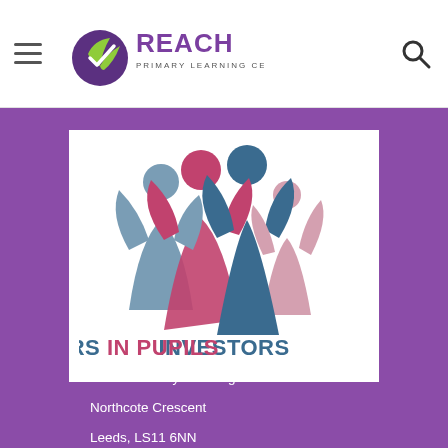[Figure (logo): Reach Primary Learning Centre logo with stylized leaf/check mark in purple and green, and text REACH PRIMARY LEARNING CENTRE]
[Figure (logo): Investors in Pupils logo showing stylized figures of people with arms raised, in pink, blue, and purple, with text INVESTORS IN PUPILS below]
Reach Primary Learning Centre
Northcote Crescent
Leeds, LS11 6NN
0113 2452793